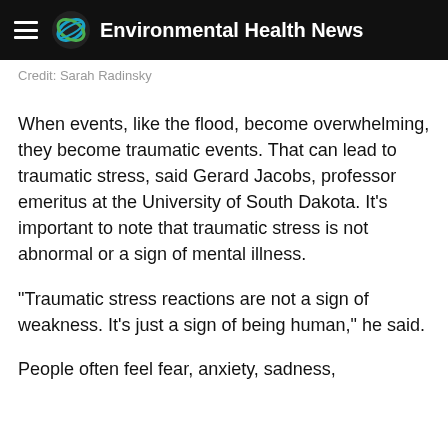Environmental Health News
Credit: Sarah Radinsky
When events, like the flood, become overwhelming, they become traumatic events. That can lead to traumatic stress, said Gerard Jacobs, professor emeritus at the University of South Dakota. It's important to note that traumatic stress is not abnormal or a sign of mental illness.
"Traumatic stress reactions are not a sign of weakness. It's just a sign of being human," he said.
People often feel fear, anxiety, sadness,